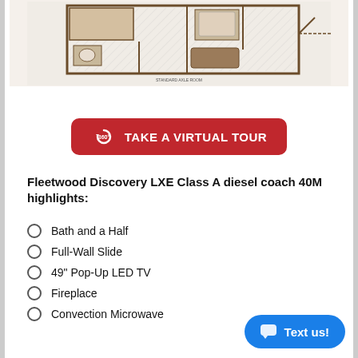[Figure (schematic): Floor plan diagram of Fleetwood Discovery LXE Class A diesel coach 40M, showing interior layout with rooms, slides, and furniture]
[Figure (other): Red button with 360-degree icon and text TAKE A VIRTUAL TOUR]
Fleetwood Discovery LXE Class A diesel coach 40M highlights:
Bath and a Half
Full-Wall Slide
49" Pop-Up LED TV
Fireplace
Convection Microwave
[Figure (other): Blue rounded button with chat bubble icon and text Text us!]